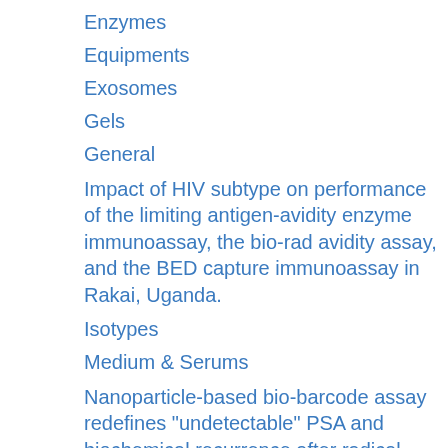Enzymes
Equipments
Exosomes
Gels
General
Impact of HIV subtype on performance of the limiting antigen-avidity enzyme immunoassay, the bio-rad avidity assay, and the BED capture immunoassay in Rakai, Uganda.
Isotypes
Medium & Serums
Nanoparticle-based bio-barcode assay redefines "undetectable" PSA and biochemical recurrence after radical prostatectomy.
NATtrol